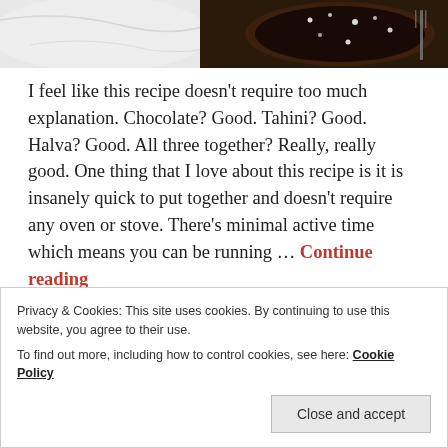[Figure (photo): Partial photo strip at top of page showing a chocolate tart with salt flakes on a marble surface]
I feel like this recipe doesn't require too much explanation. Chocolate? Good. Tahini? Good. Halva? Good. All three together? Really, really good. One thing that I love about this recipe is it is insanely quick to put together and doesn't require any oven or stove. There's minimal active time which means you can be running … Continue reading
Posted on September 30, 2018 by piegirlbakes
Posted in Uncategorized
Tagged Chocolate, halva, Tahini, Tart.
Leave a comment
Privacy & Cookies: This site uses cookies. By continuing to use this website, you agree to their use.
To find out more, including how to control cookies, see here: Cookie Policy
Close and accept